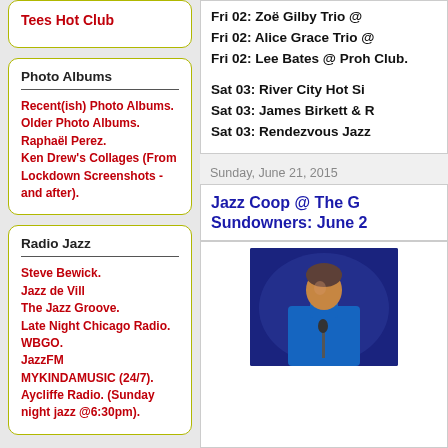Tees Hot Club
Photo Albums
Recent(ish) Photo Albums.
Older Photo Albums.
Raphaël Perez.
Ken Drew's Collages (From Lockdown Screenshots - and after).
Radio Jazz
Steve Bewick.
Jazz de Vill
The Jazz Groove.
Late Night Chicago Radio.
WBGO.
JazzFM
MYKINDAMUSIC (24/7).
Aycliffe Radio. (Sunday night jazz @6:30pm).
Fri 02: Zoë Gilby Trio @
Fri 02: Alice Grace Trio @
Fri 02: Lee Bates @ Proh Club.
Sat 03: River City Hot Si
Sat 03: James Birkett & R
Sat 03: Rendezvous Jazz
Sunday, June 21, 2015
Jazz Coop @ The G Sundowners: June 2
[Figure (photo): Musician playing piano or keyboard on stage with blue stage lighting, person in dark blue shirt visible from chest up]